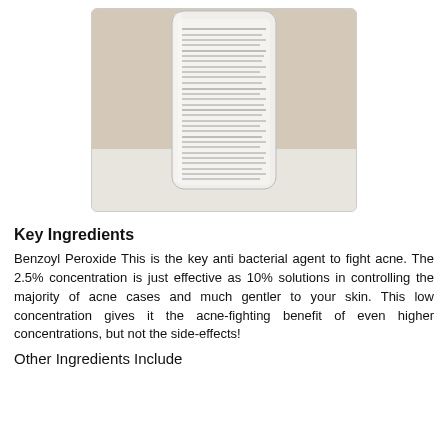[Figure (photo): Photo of the back of a white cylindrical bottle/tube of skincare product (benzoyl peroxide wash) showing small-print label text with ingredients and instructions]
Key Ingredients
Benzoyl Peroxide This is the key anti bacterial agent to fight acne. The 2.5% concentration is just effective as 10% solutions in controlling the majority of acne cases and much gentler to your skin. This low concentration gives it the acne-fighting benefit of even higher concentrations, but not the side-effects!
Other Ingredients Include